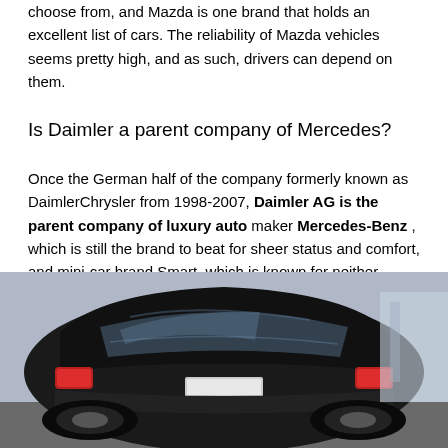choose from, and Mazda is one brand that holds an excellent list of cars. The reliability of Mazda vehicles seems pretty high, and as such, drivers can depend on them.
Is Daimler a parent company of Mercedes?
Once the German half of the company formerly known as DaimlerChrysler from 1998-2007, Daimler AG is the parent company of luxury auto maker Mercedes-Benz , which is still the brand to beat for sheer status and comfort, and mini-car brand Smart, which is known for neither attribute. Daimler will withdraw Smart from the U.S. market at the end of the 2019 model year. The company also sells Metris and Sprinter vans, which can seem odd when parked in a dealer's lot within proximity of bona fide Benzes.
[Figure (photo): Black SUV/luxury car photographed from the rear three-quarter angle, parked indoors, showing rear window and tail lights.]